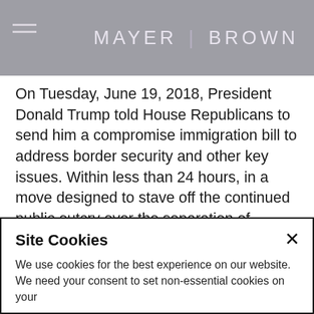MAYER BROWN
On Tuesday, June 19, 2018, President Donald Trump told House Republicans to send him a compromise immigration bill to address border security and other key issues. Within less than 24 hours, in a move designed to stave off the continued public outcry over the separation of children from migrant parents detained at the southern border, on June 20 the president signed an executive order, “Affording Congress an Opportunity to Address Family Separation.” The executive order states that officials will continue to prosecute everyone who crosses the border illegally but will find or build facilities to hold
Site Cookies
We use cookies for the best experience on our website. We need your consent to set non-essential cookies on your